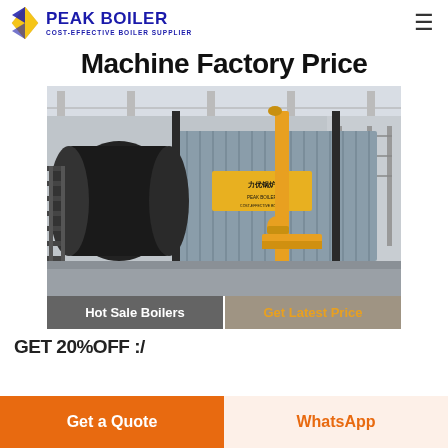PEAK BOILER - COST-EFFECTIVE BOILER SUPPLIER
Machine Factory Price
[Figure (photo): Industrial boiler equipment in a factory setting. Shows a large gas-fired boiler system with black cylindrical drum on the left, yellow piping, and a corrugated metal enclosure with Chinese branding text, inside an industrial warehouse.]
Hot Sale Boilers
Get Latest Price
GET 20% OFF :/
Get a Quote
WhatsApp